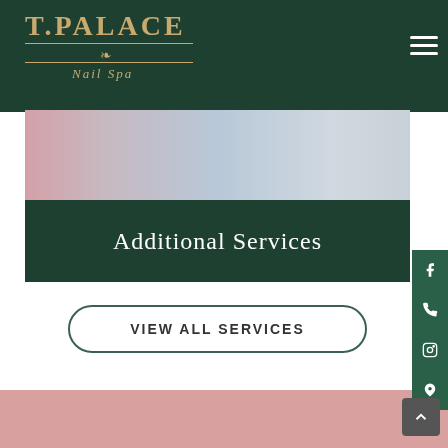T. PALACE Nail Spa
[Figure (photo): Nail spa tools and accessories – nail files and nail polish bottles on a light surface]
Additional Services
VIEW ALL SERVICES
[Figure (other): Pink/mauve background section at bottom of page]
[Figure (other): Social media sidebar icons: Facebook, Phone, Instagram, Location map pin]